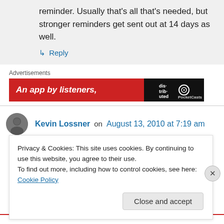reminder. Usually that's all that's needed, but stronger reminders get sent out at 14 days as well.
↳ Reply
Advertisements
[Figure (other): Red advertisement banner: 'An app by listeners,' with dark logo block on right]
Kevin Lossner on August 13, 2010 at 7:19 am
Privacy & Cookies: This site uses cookies. By continuing to use this website, you agree to their use.
To find out more, including how to control cookies, see here: Cookie Policy
Close and accept